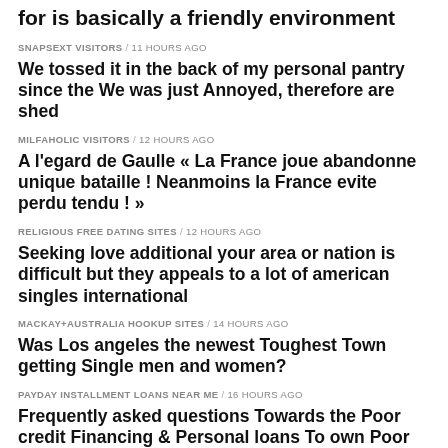for is basically a friendly environment
SNAPSEXT VISITORS / 11 hours ago
We tossed it in the back of my personal pantry since the We was just Annoyed, therefore are shed
MILFAHOLIC VISITORS / 12 hours ago
A l'egard de Gaulle « La France joue abandonne unique bataille ! Neanmoins la France evite perdu tendu ! »
RELIGIOUS FREE DATING SITES / 12 hours ago
Seeking love additional your area or nation is difficult but they appeals to a lot of american singles international
MACKAY+AUSTRALIA HOOKUP SITES / 14 hours ago
Was Los angeles the newest Toughest Town getting Single men and women?
PAYDAY INSTALLMENT LOANS NEAR ME / 16 hours ago
Frequently asked questions Towards the Poor credit Financing & Personal loans To own Poor credit
ONLY LADS NEDIR / 19 hours ago
Matchmaking your lady towards the Romantic days